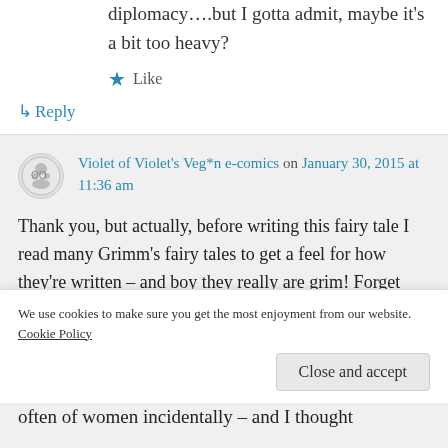diplomacy….but I gotta admit, maybe it's a bit too heavy?
Like
↳ Reply
Violet of Violet's Veg*n e-comics on January 30, 2015 at 11:36 am
Thank you, but actually, before writing this fairy tale I read many Grimm's fairy tales to get a feel for how they're written – and boy they really are grim! Forget Red Riding
We use cookies to make sure you get the most enjoyment from our website. Cookie Policy
Close and accept
often of women incidentally – and I thought